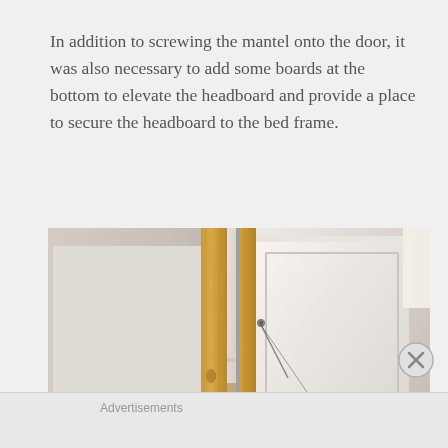In addition to screwing the mantel onto the door, it was also necessary to add some boards at the bottom to elevate the headboard and provide a place to secure the headboard to the bed frame.
[Figure (photo): Two side-by-side photos showing the back of a DIY headboard made from a door/mantel. Left photo shows the back side of a white panel door with a vertical wooden board on the right edge. Right photo shows the white paneled headboard from the back with a wooden support board visible on the left side, screws/hardware visible.]
Advertisements